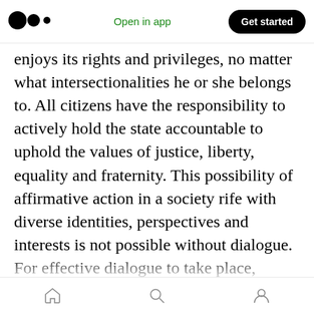Medium app header: logo, Open in app, Get started
enjoys its rights and privileges, no matter what intersectionalities he or she belongs to. All citizens have the responsibility to actively hold the state accountable to uphold the values of justice, liberty, equality and fraternity. This possibility of affirmative action in a society rife with diverse identities, perspectives and interests is not possible without dialogue. For effective dialogue to take place, spaces that nurture imagination, curiosity and critical thinking in individuals and collectives, need to exist. At Aagaaz, our overarching purpose is to create such spaces through the language of theatre
Home | Search | Profile (bottom navigation icons)